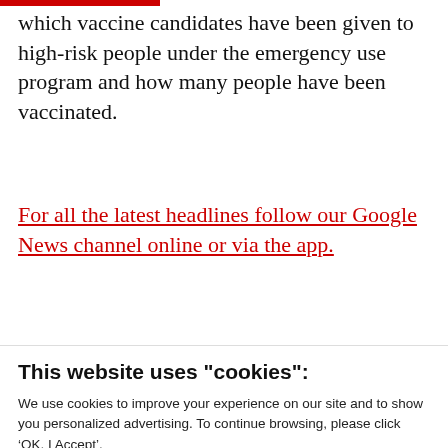which vaccine candidates have been given to high-risk people under the emergency use program and how many people have been vaccinated.
For all the latest headlines follow our Google News channel online or via the app.
...
This website uses "cookies":
We use cookies to improve your experience on our site and to show you personalized advertising. To continue browsing, please click ‘OK, I Accept’.
For more information, please read our Privacy Policy
Ok, I Accept